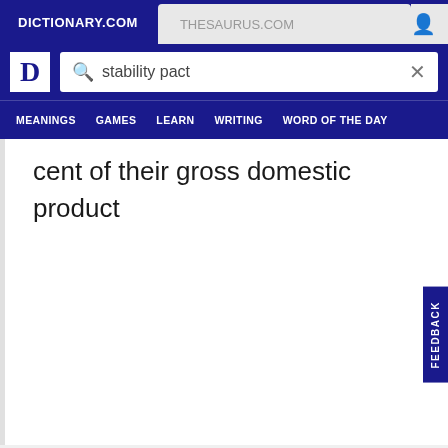DICTIONARY.COM | THESAURUS.COM
[Figure (screenshot): Dictionary.com website header with logo, search bar containing 'stability pact', and navigation links: MEANINGS, GAMES, LEARN, WRITING, WORD OF THE DAY]
cent of their gross domestic product
FEEDBACK